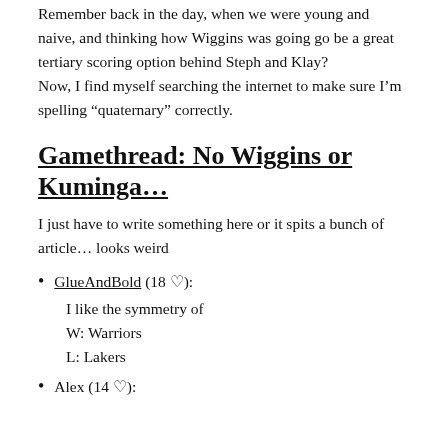Remember back in the day, when we were young and naive, and thinking how Wiggins was going go be a great tertiary scoring option behind Steph and Klay?
Now, I find myself searching the internet to make sure I’m spelling “quaternary” correctly.
Gamethread: No Wiggins or Kuminga…
I just have to write something here or it spits a bunch of article… looks weird
GlueAndBold (18 ♡):
I like the symmetry of
W: Warriors
L: Lakers
Alex (14 ♡):